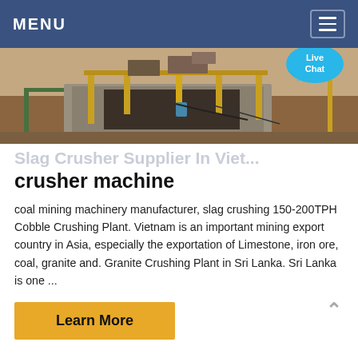MENU
[Figure (photo): Construction/mining site with heavy machinery, concrete structure, yellow metal supports, and excavated earth]
Slag Crusher Supplier In Viet... crusher machine
coal mining machinery manufacturer, slag crushing 150-200TPH Cobble Crushing Plant. Vietnam is an important mining export country in Asia, especially the exportation of Limestone, iron ore, coal, granite and. Granite Crushing Plant in Sri Lanka. Sri Lanka is one ...
Learn More